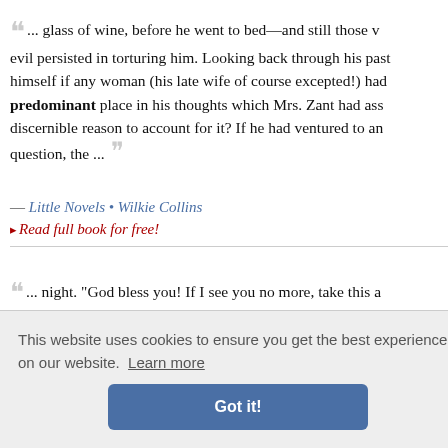... glass of wine, before he went to bed—and still those visions of evil persisted in torturing him. Looking back through his past, he asked himself if any woman (his late wife of course excepted!) had occupied the predominant place in his thoughts which Mrs. Zant had assumed, without discernible reason to account for it? If he had ventured to answer that question, the ...
— Little Novels • Wilkie Collins
▸ Read full book for free!
... night. "God bless you! If I see you no more, take this a He died in his chair at seven o'clock. He certainly is a public public-spirited and inflexibly honest, though prejudice and pa /, wheneve In his laws a woman; a
race Walpo
This website uses cookies to ensure you get the best experience on our website. Learn more
Got it!